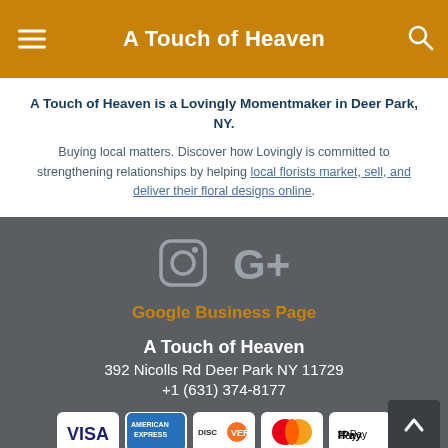A Touch of Heaven
A Touch of Heaven is a Lovingly Momentmaker in Deer Park, NY.
Buying local matters. Discover how Lovingly is committed to strengthening relationships by helping local florists market, sell, and deliver their floral designs online.
[Figure (logo): Instagram and Google+ social media icons]
Google Business Page
A Touch of Heaven
392 Nicolls Rd Deer Park NY 11729
+1 (631) 374-8177
[Figure (other): Payment method icons: Visa, American Express, Discover, Mastercard, Apple Pay]